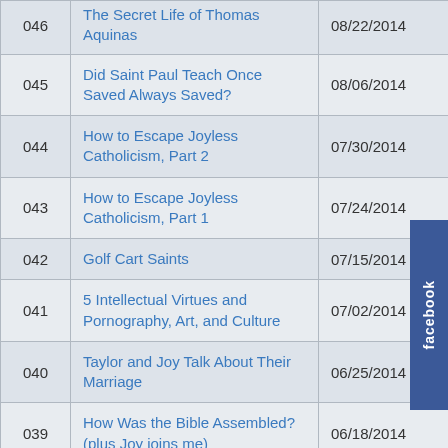| # | Title | Date |
| --- | --- | --- |
| 046 | The Secret Life of Thomas Aquinas | 08/22/2014 |
| 045 | Did Saint Paul Teach Once Saved Always Saved? | 08/06/2014 |
| 044 | How to Escape Joyless Catholicism, Part 2 | 07/30/2014 |
| 043 | How to Escape Joyless Catholicism, Part 1 | 07/24/2014 |
| 042 | Golf Cart Saints | 07/15/2014 |
| 041 | 5 Intellectual Virtues and Pornography, Art, and Culture | 07/02/2014 |
| 040 | Taylor and Joy Talk About Their Marriage | 06/25/2014 |
| 039 | How Was the Bible Assembled? (plus Joy joins me) | 06/18/2014 |
| 038 | Should You Budget Time (or Money)? | 06/04/2014 |